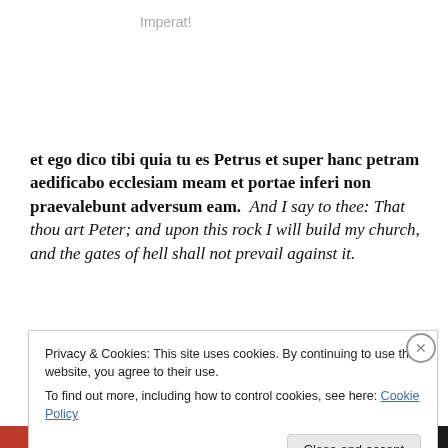Imperat!
et ego dico tibi quia tu es Petrus et super hanc petram aedificabo ecclesiam meam et portae inferi non praevalebunt adversum eam.  And I say to thee: That thou art Peter; and upon this rock I will build my church, and the gates of hell shall not prevail against it.
Tu es Petrus – You are Peter. Et portes inferi non...
Privacy & Cookies: This site uses cookies. By continuing to use this website, you agree to their use.
To find out more, including how to control cookies, see here: Cookie Policy
Close and accept